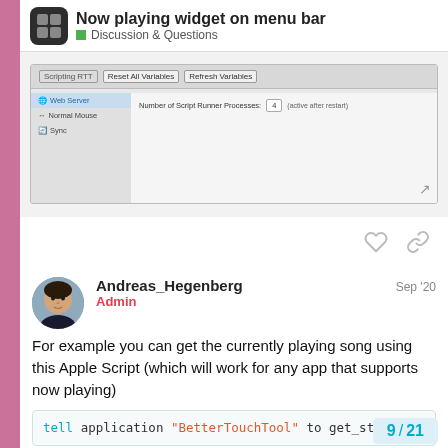Now playing widget on menu bar — Discussion & Questions
[Figure (screenshot): Screenshot of a software settings panel showing Script Runner Processes field set to 4 with Reset All Variables and Refresh Variables buttons]
For example you can get the currently playing song using this Apple Script (which will work for any app that supports now playing)
tell application "BetterTouchTool" to get_st...
9 / 21